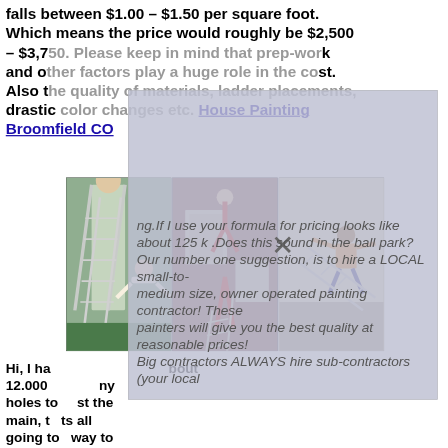falls between $1.00 – $1.50 per square foot. Which means the price would roughly be $2,500 – $3,750. Please keep in mind that prep-work and other factors play a huge role in the cost. Also the quality of materials, ladder placements, drastic color changes etc. House Painting Broomfield CO
[Figure (photo): Three photos side by side showing dangerous ladder situations: a woman falling off a ladder against a house, a person hanging from a window on a brick building, and a person falling from a ladder indoors]
Hi, I have a house that is about 12.000 sq ft ... any holes to ... just the main, t... its all going t... way to go just ... mostly vinyl si... oors and ha... ed. Nice pa... scraping. If I use your formula for pricing looks like about 25 k .Does this sound in the ball park? Our number one suggestion, is to hire a LOCAL small-to-medium size, owner operated painting contractor! These painters will give you the best quality at reasonable prices! Big contractors ALWAYS hire sub-contractors (your local